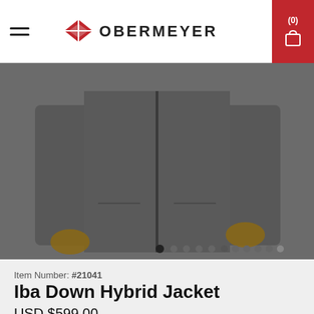Obermeyer
[Figure (photo): Product photo of Iba Down Hybrid Jacket in Coal color, showing torso and arms of a person wearing the dark grey jacket, with carousel navigation dots below]
Item Number: #21041
Iba Down Hybrid Jacket
USD $599.00
or 4 interest-free payments of $149.75 with
afterpay  ℹ
Color: Coal